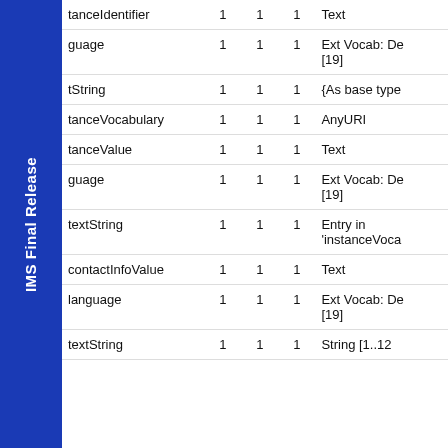| Name |  |  |  | Type |
| --- | --- | --- | --- | --- |
| tanceIdentifier | 1 | 1 | 1 | Text |
| guage | 1 | 1 | 1 | Ext Vocab: De [19] |
| tString | 1 | 1 | 1 | {As base type |
| tanceVocabulary | 1 | 1 | 1 | AnyURI |
| tanceValue | 1 | 1 | 1 | Text |
| guage | 1 | 1 | 1 | Ext Vocab: De [19] |
| textString | 1 | 1 | 1 | Entry in 'instanceVoca |
| contactInfoValue | 1 | 1 | 1 | Text |
| language | 1 | 1 | 1 | Ext Vocab: De [19] |
| textString | 1 | 1 | 1 | String [1..12 |